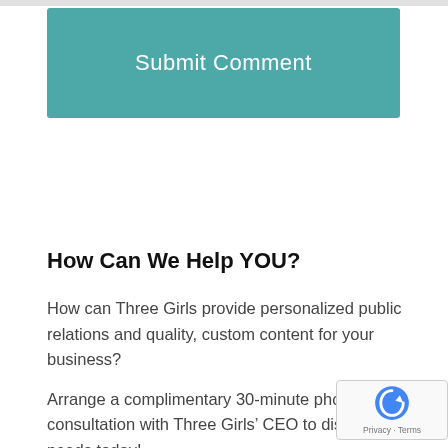[Figure (other): Teal/green 'Submit Comment' button]
How Can We Help YOU?
How can Three Girls provide personalized public relations and quality, custom content for your business?
Arrange a complimentary 30-minute phone consultation with Three Girls’ CEO to discuss your needs today!